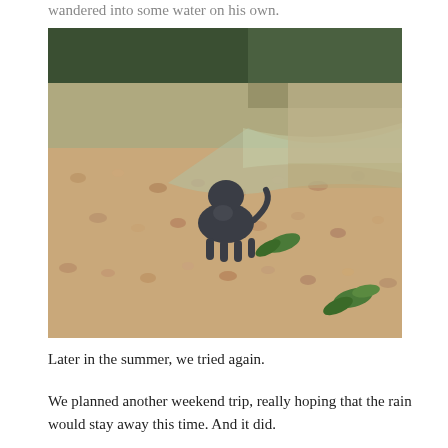wandered into some water on his own.
[Figure (photo): A dark grey dog standing at the edge of a shallow river or stream, on a gravel/pebble shore. The dog is facing toward the water. Green leaves are visible near the water's edge. The water appears brownish.]
Later in the summer, we tried again.
We planned another weekend trip, really hoping that the rain would stay away this time. And it did.